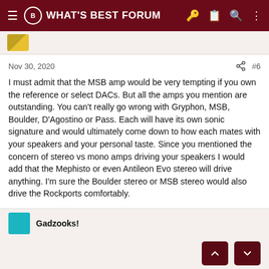What's Best Forum
Nov 30, 2020  #6
I must admit that the MSB amp would be very tempting if you own the reference or select DACs. But all the amps you mention are outstanding. You can't really go wrong with Gryphon, MSB, Boulder, D'Agostino or Pass. Each will have its own sonic signature and would ultimately come down to how each mates with your speakers and your personal taste. Since you mentioned the concern of stereo vs mono amps driving your speakers I would add that the Mephisto or even Antileon Evo stereo will drive anything. I'm sure the Boulder stereo or MSB stereo would also drive the Rockports comfortably.

Regarding Shunyata...I have shunyata power and really like what it does. Although a lot of people also like the AQ Niagara products. Again, it would come down to which you prefer. Either way, taking care of AC line noise will help a lot with your Transport/DAC. Digital noise leads to a not so good sound.
Gadzooks!